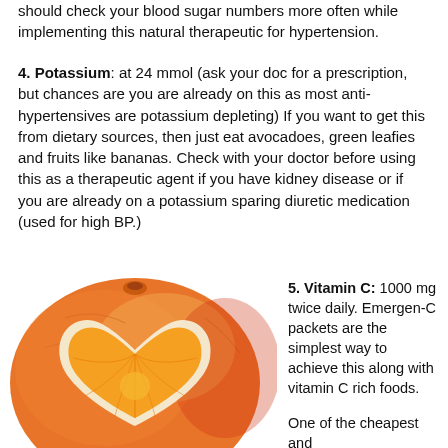should check your blood sugar numbers more often while implementing this natural therapeutic for hypertension.
4. Potassium: at 24 mmol (ask your doc for a prescription, but chances are you are already on this as most anti-hypertensives are potassium depleting) If you want to get this from dietary sources, then just eat avocadoes, green leafies and fruits like bananas. Check with your doctor before using this as a therapeutic agent if you have kidney disease or if you are already on a potassium sparing diuretic medication (used for high BP.)
[Figure (photo): A large orange/grapefruit with a heart-shaped cross-section slice cut into it, showing the orange fruit flesh in a heart shape, placed on a white background.]
5. Vitamin C: 1000 mg twice daily. Emergen-C packets are the simplest way to achieve this along with vitamin C rich foods.
One of the cheapest and